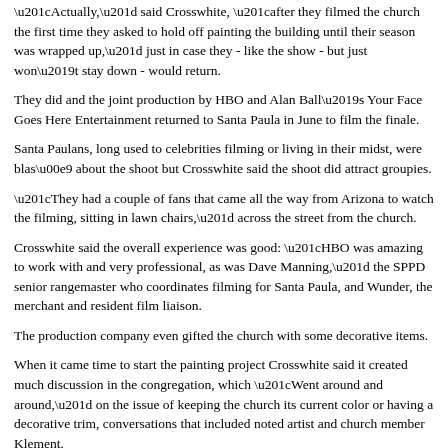“Actually,” said Crosswhite, “after they filmed the church the first time they asked to hold off painting the building until their season was wrapped up,” just in case they - like the show - but just won’t stay down - would return.
They did and the joint production by HBO and Alan Ball’s Your Face Goes Here Entertainment returned to Santa Paula in June to film the finale.
Santa Paulans, long used to celebrities filming or living in their midst, were blasé about the shoot but Crosswhite said the shoot did attract groupies.
“They had a couple of fans that came all the way from Arizona to watch the filming, sitting in lawn chairs,” across the street from the church.
Crosswhite said the overall experience was good: “HBO was amazing to work with and very professional, as was Dave Manning,” the SPPD senior rangemaster who coordinates filming for Santa Paula, and Wunder, the merchant and resident film liaison.
The production company even gifted the church with some decorative items.
When it came time to start the painting project Crosswhite said it created much discussion in the congregation, which “Went around and around,” on the issue of keeping the church its current color or having a decorative trim, conversations that included noted artist and church member Klement.
“The surprise was the congregation voted for a gray-green trim,” in two shades to highlight the features of the building.
And Crosswhite said it was “Fascinating” to find when the power washing of the building removed the old paint, “a lot of layers down there was that gray-green color we decided on… it’s as if the whole church has been painted that color! We all found that fascinating.”
It has been almost 20 years since the church was last painted although the building…